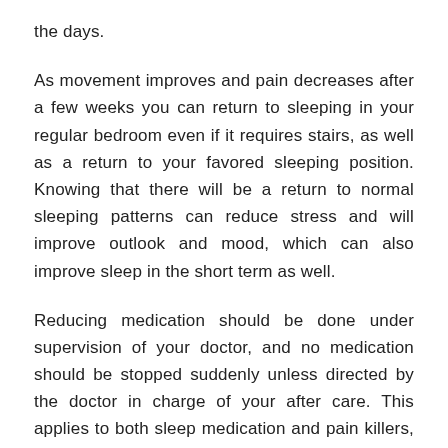the days.
As movement improves and pain decreases after a few weeks you can return to sleeping in your regular bedroom even if it requires stairs, as well as a return to your favored sleeping position. Knowing that there will be a return to normal sleeping patterns can reduce stress and will improve outlook and mood, which can also improve sleep in the short term as well.
Reducing medication should be done under supervision of your doctor, and no medication should be stopped suddenly unless directed by the doctor in charge of your after care. This applies to both sleep medication and pain killers, but also to reducing or stopping the use of fiber or other temporary supplements that were in use.